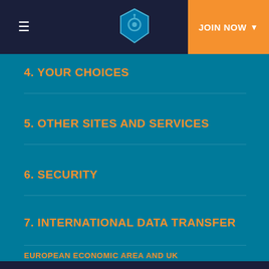JOIN NOW
4. YOUR CHOICES
5. OTHER SITES AND SERVICES
6. SECURITY
7. INTERNATIONAL DATA TRANSFER
Do you consent to our use cookies as described in our Cookie Notice, including for analytics, to personalize content, and to tailor and measure ads?
Do Not Sell My Personal Information - Privacy Policy
Accept
EUROPEAN ECONOMIC AREA and uk